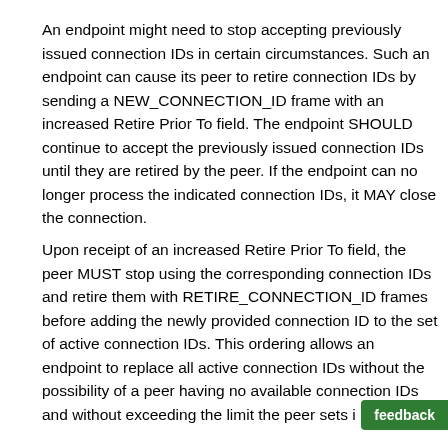An endpoint might need to stop accepting previously issued connection IDs in certain circumstances. Such an endpoint can cause its peer to retire connection IDs by sending a NEW_CONNECTION_ID frame with an increased Retire Prior To field. The endpoint SHOULD continue to accept the previously issued connection IDs until they are retired by the peer. If the endpoint can no longer process the indicated connection IDs, it MAY close the connection.
Upon receipt of an increased Retire Prior To field, the peer MUST stop using the corresponding connection IDs and retire them with RETIRE_CONNECTION_ID frames before adding the newly provided connection ID to the set of active connection IDs. This ordering allows an endpoint to replace all active connection IDs without the possibility of a peer having no available connection IDs and without exceeding the limit the peer sets i[n the active_connection_id_limit transport parameter].